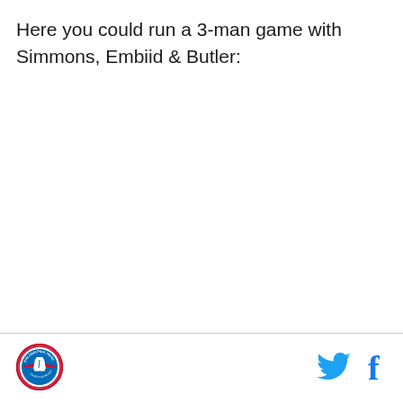Here you could run a 3-man game with Simmons, Embiid & Butler:
[Figure (logo): Philadelphia 76ers circular logo with Liberty Bell]
[Figure (logo): Twitter bird icon in blue]
[Figure (logo): Facebook 'f' icon in blue]